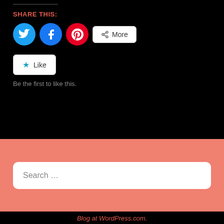SHARE THIS:
[Figure (infographic): Social share buttons: Twitter (blue circle), Facebook (blue circle), Pinterest (red circle), and a More button with share icon]
[Figure (infographic): Like button with star icon]
Be the first to like this.
[Figure (screenshot): Search bar with placeholder text 'Search ...' on a salmon/coral background section]
Blog at WordPress.com.